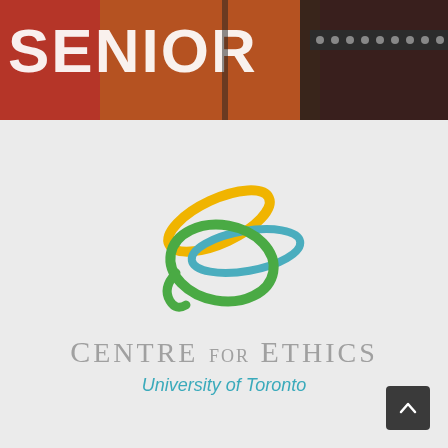[Figure (photo): Top banner image showing text 'SENIOR' in white graffiti-style lettering on red background with a figure in dark clothing with studded accessories]
[Figure (logo): Centre for Ethics, University of Toronto logo with three interlocking oval rings in yellow, green, and blue, above the text 'CENTRE FOR ETHICS' in grey and 'University of Toronto' in teal]
[Figure (other): Dark square scroll-to-top button with upward chevron arrow in bottom right corner]